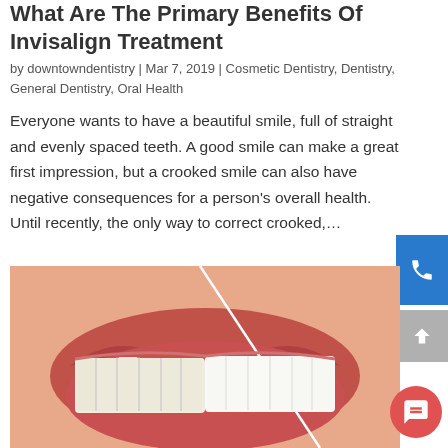What Are The Primary Benefits Of Invisalign Treatment
by downtowndentistry | Mar 7, 2019 | Cosmetic Dentistry, Dentistry, General Dentistry, Oral Health
Everyone wants to have a beautiful smile, full of straight and evenly spaced teeth. A good smile can make a great first impression, but a crooked smile can also have negative consequences for a person's overall health. Until recently, the only way to correct crooked,...
[Figure (photo): A close-up photo of a person's smile showing teeth, split diagonally — the left side shows slightly uneven/yellower teeth and the right side shows straighter, whiter teeth, illustrating a before/after Invisalign comparison.]